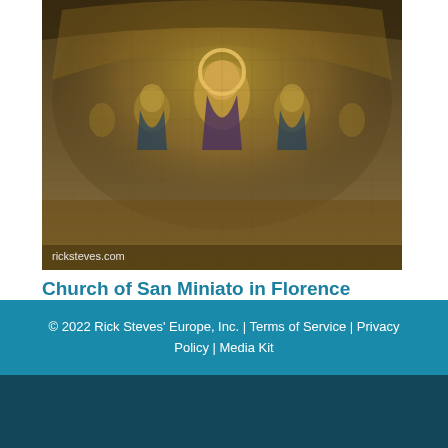[Figure (photo): Mosaic interior of the Church of San Miniato, showing Byzantine-style mosaic on the apse ceiling with figures in gold and earth tones. Watermark 'ricksteves.com' visible in lower left.]
Church of San Miniato in Florence
Florence, Italy
© 2022 Rick Steves' Europe, Inc. | Terms of Service | Privacy Policy | Media Kit